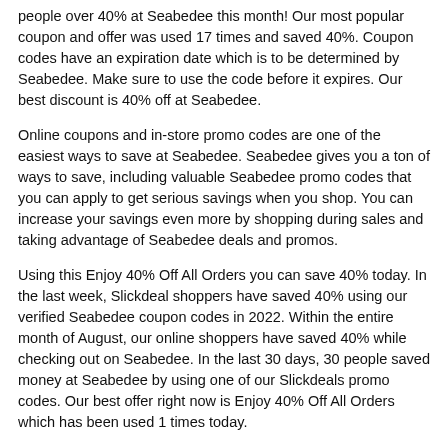people over 40% at Seabedee this month! Our most popular coupon and offer was used 17 times and saved 40%. Coupon codes have an expiration date which is to be determined by Seabedee. Make sure to use the code before it expires. Our best discount is 40% off at Seabedee.
Online coupons and in-store promo codes are one of the easiest ways to save at Seabedee. Seabedee gives you a ton of ways to save, including valuable Seabedee promo codes that you can apply to get serious savings when you shop. You can increase your savings even more by shopping during sales and taking advantage of Seabedee deals and promos.
Using this Enjoy 40% Off All Orders you can save 40% today. In the last week, Slickdeal shoppers have saved 40% using our verified Seabedee coupon codes in 2022. Within the entire month of August, our online shoppers have saved 40% while checking out on Seabedee. In the last 30 days, 30 people saved money at Seabedee by using one of our Slickdeals promo codes. Our best offer right now is Enjoy 40% Off All Orders which has been used 1 times today.
Make sure you know each store-specific coupon code policy so you can get the best in-store discounts with your printable promo codes and printable coupons for in-store deals. Check to see if Seabedee allows stackable coupons, student discounts, military discounts, or senior discounts.